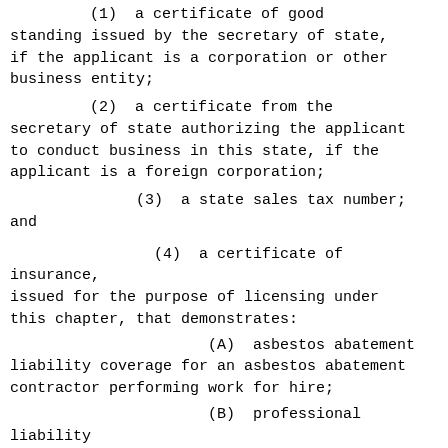(1)  a certificate of good standing issued by the secretary of state, if the applicant is a corporation or other business entity;
(2)  a certificate from the secretary of state authorizing the applicant to conduct business in this state, if the applicant is a foreign corporation;
(3)  a state sales tax number; and
(4)  a certificate of insurance, issued for the purpose of licensing under this chapter, that demonstrates:
(A)  asbestos abatement liability coverage for an asbestos abatement contractor performing work for hire;
(B)  professional liability insurance coverage for errors and omissions for a consultant, inspector, or asbestos